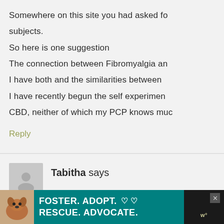Somewhere on this site you had asked fo subjects.
So here is one suggestion
The connection between Fibromyalgia an
I have both and the similarities between
I have recently begun the self experimen
CBD, neither of which my PCP knows muc
Reply
Tabitha says
[Figure (photo): User avatar placeholder - grey square with person silhouette]
[Figure (photo): Advertisement banner: dog photo on left, teal background with text FOSTER. ADOPT. RESCUE. ADVOCATE. with heart symbols, close button and logo on right]